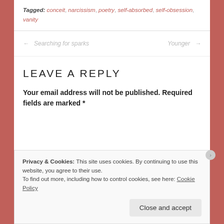Tagged: conceit, narcissism, poetry, self-absorbed, self-obsession, vanity
← Searching for sparks    Younger →
LEAVE A REPLY
Your email address will not be published. Required fields are marked *
Privacy & Cookies: This site uses cookies. By continuing to use this website, you agree to their use.
To find out more, including how to control cookies, see here: Cookie Policy
Close and accept